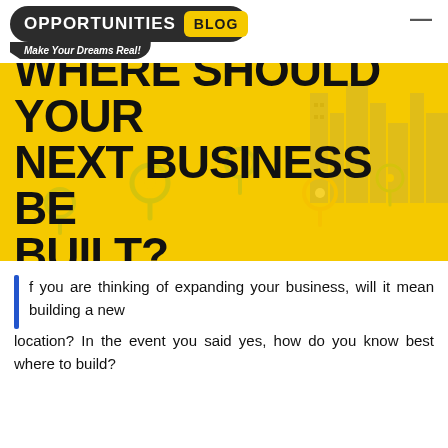[Figure (logo): Opportunities Blog logo — dark pill shape with 'OPPORTUNITIES' in white and 'BLOG' in yellow badge, tagline 'Make Your Dreams Real!' below]
WHERE SHOULD YOUR NEXT BUSINESS BE BUILT?
If you are thinking of expanding your business, will it mean building a new location? In the event you said yes, how do you know best where to build?